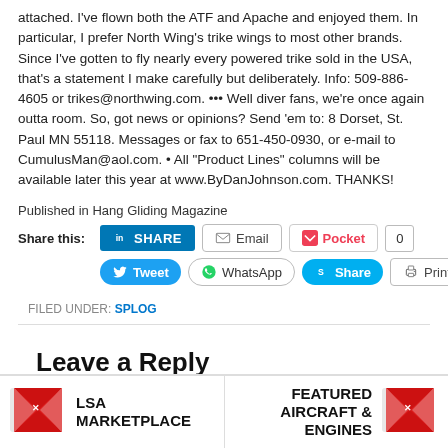attached. I've flown both the ATF and Apache and enjoyed them. In particular, I prefer North Wing's trike wings to most other brands. Since I've gotten to fly nearly every powered trike sold in the USA, that's a statement I make carefully but deliberately. Info: 509-886-4605 or trikes@northwing.com. ••• Well diver fans, we're once again outta room. So, got news or opinions? Send 'em to: 8 Dorset, St. Paul MN 55118. Messages or fax to 651-450-0930, or e-mail to CumulusMan@aol.com. • All "Product Lines" columns will be available later this year at www.ByDanJohnson.com. THANKS!
Published in Hang Gliding Magazine
Share this: LinkedIn SHARE | Email | Pocket 0 | Tweet | WhatsApp | Share | Print
FILED UNDER: SPLOG
Leave a Reply
[Figure (logo): LSA Marketplace logo with red and white X emblem]
[Figure (logo): Featured Aircraft & Engines logo with red and white X emblem]